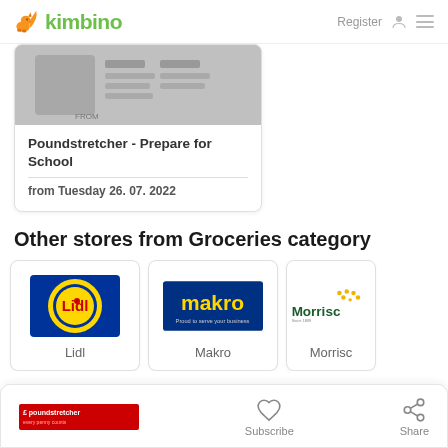kimbino — Register
[Figure (screenshot): Poundstretcher promotional leaflet image (greyscale thumbnail)]
Poundstretcher - Prepare for School
from Tuesday 26. 07. 2022
Other stores from Groceries category
[Figure (logo): Lidl logo — yellow circle with blue border and red 'Lidl' text]
Lidl
[Figure (logo): Makro logo — blue rectangle with yellow 'makro' text]
Makro
[Figure (logo): Morrisons logo (partially visible) — green text with wheat graphic]
Morrisons
Poundstretcher — Subscribe — Share